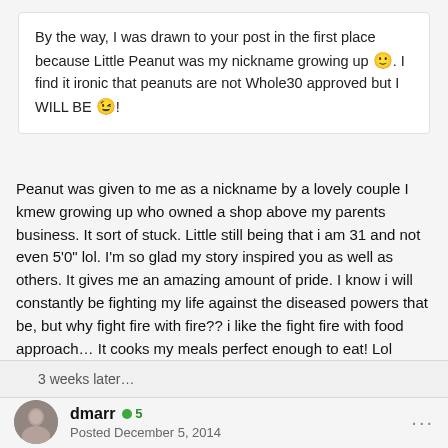By the way, I was drawn to your post in the first place because Little Peanut was my nickname growing up 🙂. I find it ironic that peanuts are not Whole30 approved but I WILL BE 😉!
Peanut was given to me as a nickname by a lovely couple I kmew growing up who owned a shop above my parents business. It sort of stuck. Little still being that i am 31 and not even 5'0" lol. I'm so glad my story inspired you as well as others. It gives me an amazing amount of pride. I know i will constantly be fighting my life against the diseased powers that be, but why fight fire with fire?? i like the fight fire with food approach... It cooks my meals perfect enough to eat! Lol
3 weeks later...
dmarr ⊕5
Posted December 5, 2014